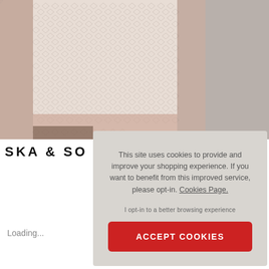[Figure (photo): A man wearing a white/cream patterned knit short-sleeve shirt, cropped to show torso and hands. Light gray background.]
SKA & SO
Loading...
This site uses cookies to provide and improve your shopping experience. If you want to benefit from this improved service, please opt-in. Cookies Page.
I opt-in to a better browsing experience
ACCEPT COOKIES